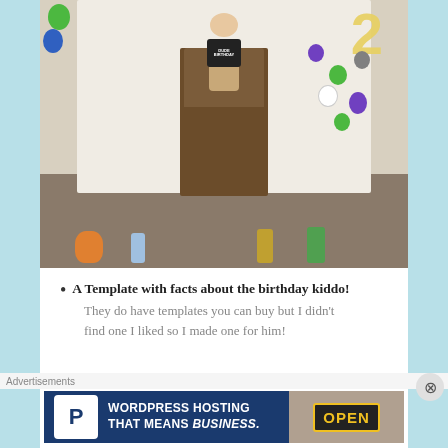[Figure (photo): A child sitting on a wooden chair wearing a black 'Dude It's My Birthday' t-shirt and tan pants, surrounded by Toy Story themed toys (Mr. Potato Head, Buzz Lightyear, Woody) and green, purple, and white balloons. A large number '2' made of balloons is visible on the right side.]
A Template with facts about the birthday kiddo! They do have templates you can buy but I didn't find one I liked so I made one for him!
Advertisements
[Figure (screenshot): Advertisement banner for WordPress Hosting that means Business, featuring a P logo icon on the left, bold white text in the center, and a photo of an OPEN sign on the right]